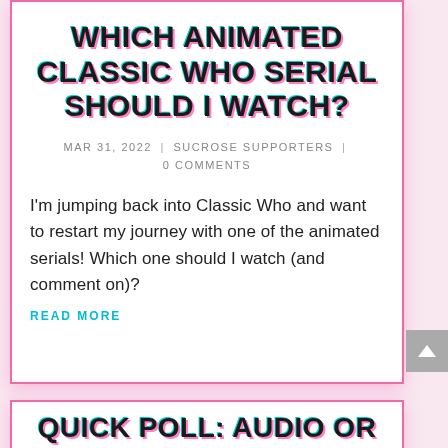WHICH ANIMATED CLASSIC WHO SERIAL SHOULD I WATCH?
MAR 31, 2022 | SUCROSE SUPPORTERS | 0 COMMENTS
I'm jumping back into Classic Who and want to restart my journey with one of the animated serials! Which one should I watch (and comment on)?
READ MORE
QUICK POLL: AUDIO OR ARTICLES